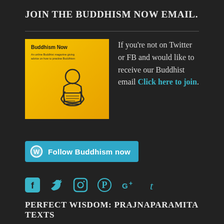JOIN THE BUDDHISM NOW EMAIL.
[Figure (illustration): Buddhism Now logo with a meditating figure on a yellow/orange background, with text 'Buddhism Now - An online Buddhist magazine giving advice on how to practise Buddhism']
If you're not on Twitter or FB and would like to receive our Buddhist email Click here to join.
[Figure (other): Follow Buddhism now button with WordPress icon in cyan/teal color]
[Figure (other): Social media icons row: Facebook, Twitter, Instagram, Pinterest, Google+, Tumblr — all in cyan/teal color]
PERFECT WISDOM: PRAJNAPARAMITA TEXTS